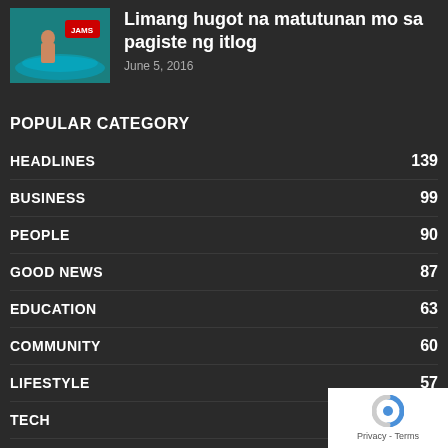[Figure (photo): Thumbnail image of a person near water with a logo overlay]
Limang hugot na matutunan mo sa pagiste ng itlog
June 5, 2016
POPULAR CATEGORY
HEADLINES 139
BUSINESS 99
PEOPLE 90
GOOD NEWS 87
EDUCATION 63
COMMUNITY 60
LIFESTYLE 57
TECH 37
ENTERTAINMENT